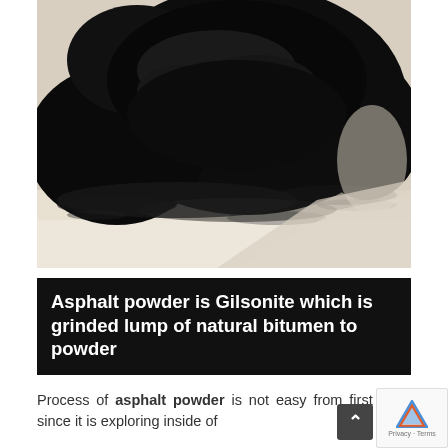[Figure (photo): Close-up photograph of a pile of fine black asphalt/Gilsonite powder on a white surface. The powder appears dark, granular, and finely ground.]
Asphalt powder is Gilsonite which is grinded lump of natural bitumen to powder
Process of asphalt powder is not easy from first step since it is exploring inside of